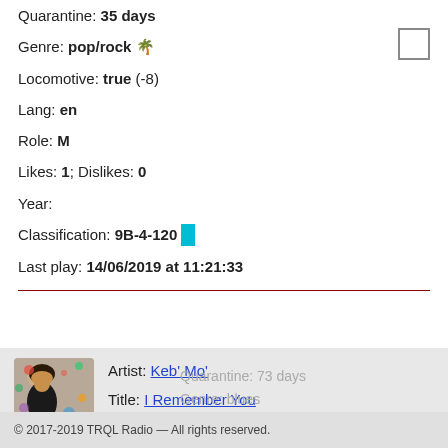Quarantine: 35 days
Genre: pop/rock 🌴
Locomotive: true (-8)
Lang: en
Role: M
Likes: 1; Dislikes: 0
Year:
Classification: 9B-4-120
Last play: 14/06/2019 at 11:21:33
[Figure (photo): Artist photo of Keb Mo, person in dark clothing against colorful floral background]
Artist: Keb' Mo'
Title: I Remember You
Duration: 04'54"
Quarantine: 73 days
Genre: blues
© 2017-2019 TRQL Radio — All rights reserved.